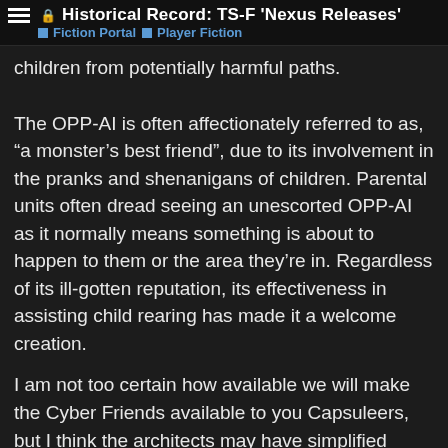Historical Record: TS-F 'Nexus Releases' | Fiction Portal | Player Fiction
children from potentially harmful paths.
The OPP-AI is often affectionately referred to as, “a monster’s best friend”, due to its involvement in the pranks and shenanigans of children. Parental units often dread seeing an unescorted OPP-AI as it normally means something is about to happen to them or the area they’re in. Regardless of its ill-gotten reputation, its effectiveness in assisting child rearing has made it a welcome creation.
I am not too certain how available we will make the Cyber Friends available to you Capsuleers, but I think the architects may have simplified versions in progress for you. I’m certain they can give you a time frame if you are truly interested in owning one. I wouldn’t expect something timid to have lounging around, though!